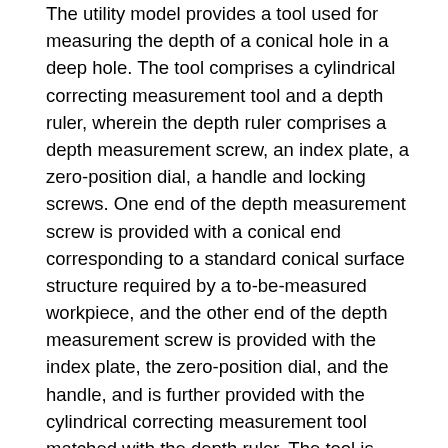The utility model provides a tool used for measuring the depth of a conical hole in a deep hole. The tool comprises a cylindrical correcting measurement tool and a depth ruler, wherein the depth ruler comprises a depth measurement screw, an index plate, a zero-position dial, a handle and locking screws. One end of the depth measurement screw is provided with a conical end corresponding to a standard conical surface structure required by a to-be-measured workpiece, and the other end of the depth measurement screw is provided with the index plate, the zero-position dial, and the handle, and is further provided with the cylindrical correcting measurement tool matched with the depth ruler. The tool is used for measuring the distance between an end face of the depth hole and a small end face of the conical hole in the deep hole, and can accurately measure the processing depth of the conical hole in the workpiece. The tool can ensure the consistency of the processing size through the timely measurement when the internal conical surface is processed, so that the sealing effect of the tool can be ensured, and the pass percent of the tool can be conveniently enhanced. Compared with the prior art, the tool has the advantages that the tool is simple in structure and convenient to use,